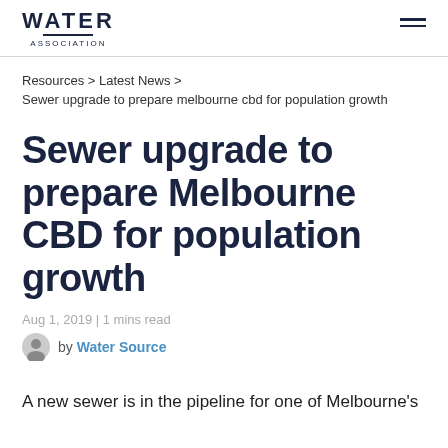WATER ASSOCIATION
Resources > Latest News >
Sewer upgrade to prepare melbourne cbd for population growth
Sewer upgrade to prepare Melbourne CBD for population growth
Aug 1, 2019 | 1 mins read
by Water Source
A new sewer is in the pipeline for one of Melbourne's